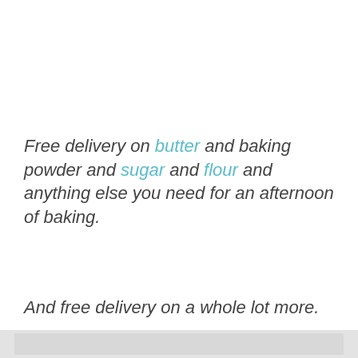Free delivery on butter and baking powder and sugar and flour and anything else you need for an afternoon of baking.
And free delivery on a whole lot more.
[Figure (other): Light gray banner/image section at the bottom of the page]